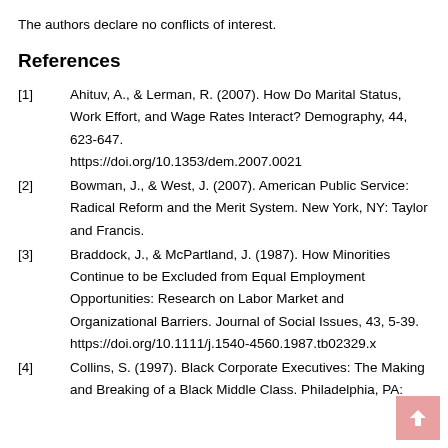The authors declare no conflicts of interest.
References
[1] Ahituv, A., & Lerman, R. (2007). How Do Marital Status, Work Effort, and Wage Rates Interact? Demography, 44, 623-647. https://doi.org/10.1353/dem.2007.0021
[2] Bowman, J., & West, J. (2007). American Public Service: Radical Reform and the Merit System. New York, NY: Taylor and Francis.
[3] Braddock, J., & McPartland, J. (1987). How Minorities Continue to be Excluded from Equal Employment Opportunities: Research on Labor Market and Organizational Barriers. Journal of Social Issues, 43, 5-39. https://doi.org/10.1111/j.1540-4560.1987.tb02329.x
[4] Collins, S. (1997). Black Corporate Executives: The Making and Breaking of a Black Middle Class. Philadelphia, PA: